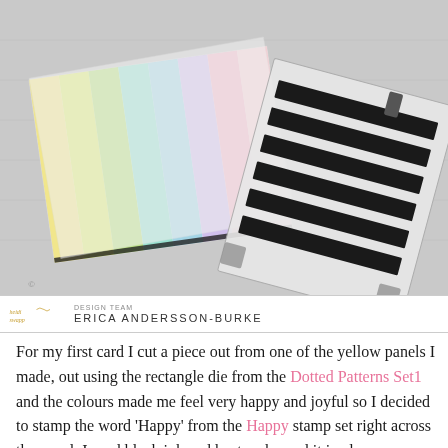[Figure (photo): Photograph showing colorful rainbow-striped ink blended panels fanned out on a light gray wood surface, next to a clear acrylic stamp set with black stripe stamp designs.]
DESIGN TEAM ERICA ANDERSSON-BURKE
For my first card I cut a piece out from one of the yellow panels I made, out using the rectangle die from the Dotted Patterns Set1 and the colours made me feel very happy and joyful so I decided to stamp the word 'Happy' from the Happy stamp set right across the panel. I used black ink and heat embossed it in clear